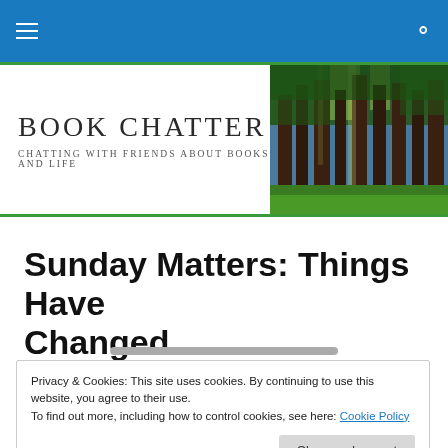Navigation bar with hamburger menu and search icon
Book Chatter
Chatting with friends about books and life
[Figure (photo): Forest of tall trees with green foliage and sunlight filtering through]
Sunday Matters: Things Have Changed
Privacy & Cookies: This site uses cookies. By continuing to use this website, you agree to their use.
To find out more, including how to control cookies, see here: Cookie Policy
Close and accept